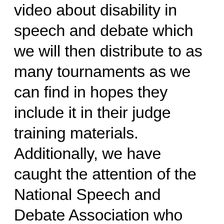video about disability in speech and debate which we will then distribute to as many tournaments as we can find in hopes they include it in their judge training materials. Additionally, we have caught the attention of the National Speech and Debate Association who wants to meet with us and discuss disability equity. Finally, we have done extensive planning for this tournament--which still exists. The tournament invitation and judge training materials we have created all still exist as an example of what a more equitable and